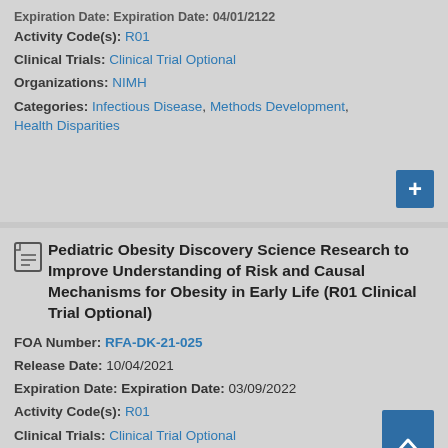Expiration Date: Expiration Date: 04/01/2122
Activity Code(s): R01
Clinical Trials: Clinical Trial Optional
Organizations: NIMH
Categories: Infectious Disease, Methods Development, Health Disparities
Pediatric Obesity Discovery Science Research to Improve Understanding of Risk and Causal Mechanisms for Obesity in Early Life (R01 Clinical Trial Optional)
FOA Number: RFA-DK-21-025
Release Date: 10/04/2021
Expiration Date: Expiration Date: 03/09/2022
Activity Code(s): R01
Clinical Trials: Clinical Trial Optional